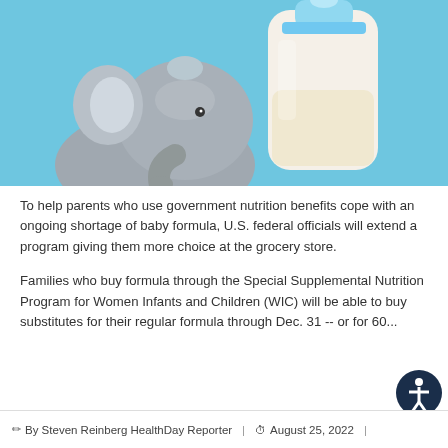[Figure (photo): A baby bottle filled with milk and a grey stuffed elephant toy against a light blue background]
To help parents who use government nutrition benefits cope with an ongoing shortage of baby formula, U.S. federal officials will extend a program giving them more choice at the grocery store.
Families who buy formula through the Special Supplemental Nutrition Program for Women Infants and Children (WIC) will be able to buy substitutes for their regular formula through Dec. 31 -- or for 60...
By Steven Reinberg HealthDay Reporter | August 25, 2022 |